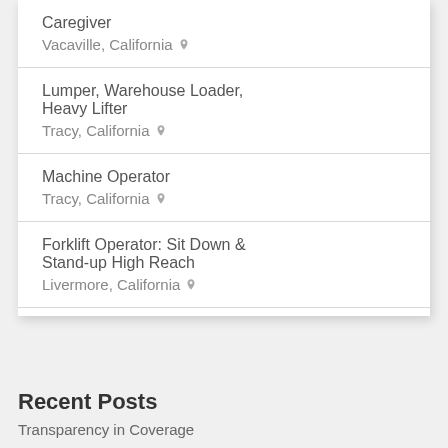Caregiver
Vacaville, California
Lumper, Warehouse Loader, Heavy Lifter
Tracy, California
Machine Operator
Tracy, California
Forklift Operator: Sit Down & Stand-up High Reach
Livermore, California
Recent Posts
Transparency in Coverage